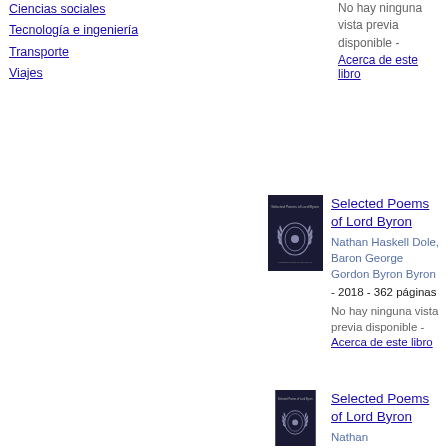Ciencias sociales
Tecnología e ingeniería
Transporte
Viajes
[Figure (photo): Book cover of Selected Poems of Lord Byron - dark navy cover with laurel wreath emblem]
Selected Poems of Lord Byron
Nathan Haskell Dole, Baron George Gordon Byron Byron - 2018 - 362 páginas
No hay ninguna vista previa disponible -
Acerca de este libro
[Figure (photo): Book cover of Selected Poems of Lord Byron - dark navy cover with laurel wreath emblem]
Selected Poems of Lord Byron
Nathan